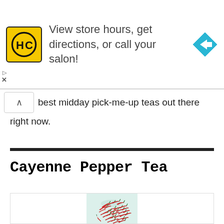[Figure (other): HC Hair Club advertisement banner with yellow logo showing HC letters, text 'View store hours, get directions, or call your salon!', and a blue navigation arrow icon on the right]
best midday pick-me-up teas out there right now.
Cayenne Pepper Tea
[Figure (photo): Overhead photo of a large pile of red cayenne chili peppers with green stems on a light teal/mint colored background]